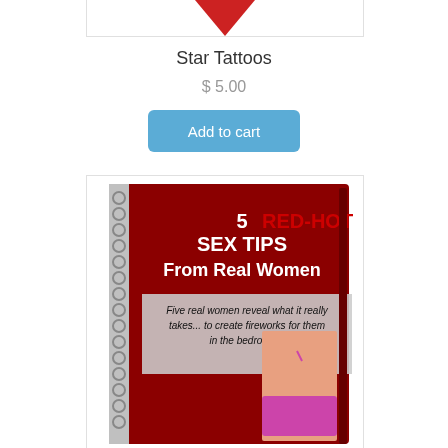[Figure (photo): Top portion of a product image for Star Tattoos, showing partial red graphic at top]
Star Tattoos
$ 5.00
Add to cart
[Figure (photo): Book cover: '5 RED-HOT SEX TIPS From Real Women' — spiral-bound book with red cover, text reading 'Five real women reveal what it really takes... to create fireworks for them in the bedroom...' with image of woman in pink bikini]